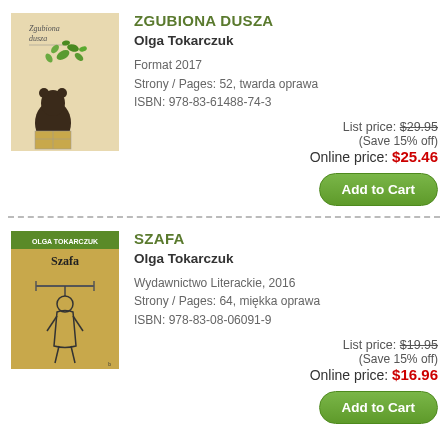[Figure (illustration): Book cover for Zgubiona Dusza - beige background with illustration of a bear/animal carrying boxes with green leaves/butterflies flying]
ZGUBIONA DUSZA
Olga Tokarczuk
Format 2017
Strony / Pages: 52, twarda oprawa
ISBN: 978-83-61488-74-3
List price: $29.95
(Save 15% off)
Online price: $25.46
Add to Cart
[Figure (illustration): Book cover for Szafa - orange/tan background with 'OLGA TOKARCZUK' at top in green text, 'Szafa' title, illustration of a figure hanging from a wardrobe/bar]
SZAFA
Olga Tokarczuk
Wydawnictwo Literackie, 2016
Strony / Pages: 64, miękka oprawa
ISBN: 978-83-08-06091-9
List price: $19.95
(Save 15% off)
Online price: $16.96
Add to Cart